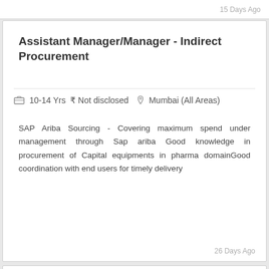15 Days Ago
Assistant Manager/Manager - Indirect Procurement
10-14 Yrs ₹ Not disclosed  Mumbai (All Areas)
SAP Ariba Sourcing - Covering maximum spend under management through Sap ariba Good knowledge in procurement of Capital equipments in pharma domainGood coordination with end users for timely delivery
26 Days Ago
Digital Marketing
3-8 Yrs ₹ 5,00,000 - 10,00,000 PA.  Mumbai